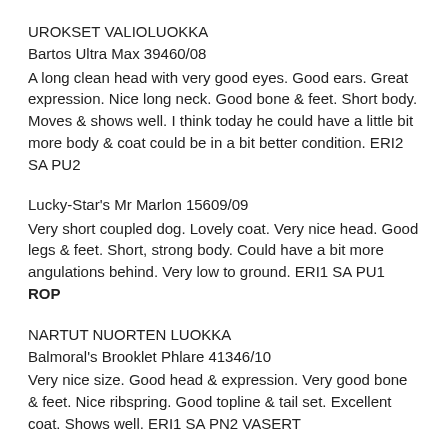UROKSET VALIOLUOKKA
Bartos Ultra Max 39460/08
A long clean head with very good eyes. Good ears. Great expression. Nice long neck. Good bone & feet. Short body. Moves & shows well. I think today he could have a little bit more body & coat could be in a bit better condition. ERI2 SA PU2
Lucky-Star's Mr Marlon 15609/09
Very short coupled dog. Lovely coat. Very nice head. Good legs & feet. Short, strong body. Could have a bit more angulations behind. Very low to ground. ERI1 SA PU1 ROP
NARTUT NUORTEN LUOKKA
Balmoral's Brooklet Phlare 41346/10
Very nice size. Good head & expression. Very good bone & feet. Nice ribspring. Good topline & tail set. Excellent coat. Shows well. ERI1 SA PN2 VASERT